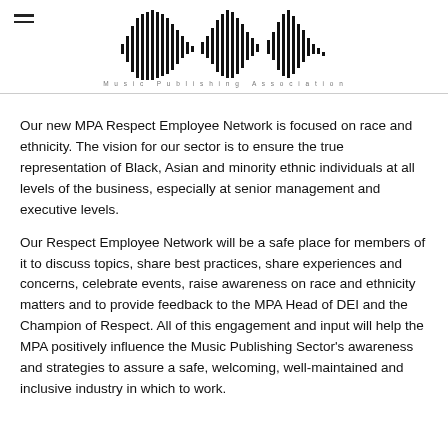MPA Music Publishing Association logo with waveform graphic
Our new MPA Respect Employee Network is focused on race and ethnicity. The vision for our sector is to ensure the true representation of Black, Asian and minority ethnic individuals at all levels of the business, especially at senior management and executive levels.
Our Respect Employee Network will be a safe place for members of it to discuss topics, share best practices, share experiences and concerns, celebrate events, raise awareness on race and ethnicity matters and to provide feedback to the MPA Head of DEI and the Champion of Respect. All of this engagement and input will help the MPA positively influence the Music Publishing Sector's awareness and strategies to assure a safe, welcoming, well-maintained and inclusive industry in which to work.